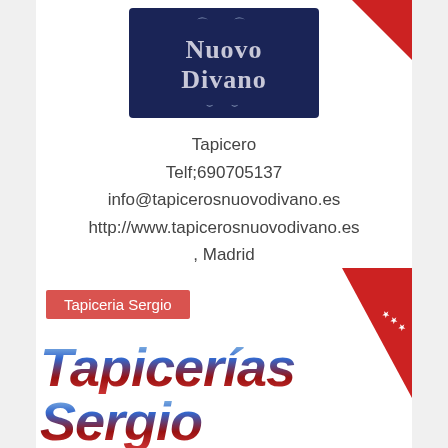[Figure (logo): Nuovo Divano logo — dark navy blue rectangle with decorative sofa silhouette and ornamental scrollwork. White serif text reads 'Nuovo Divano' with decorative elements above and below.]
Tapicero
Telf;690705137
info@tapicerosnuovodivano.es
http://www.tapicerosnuovodivano.es
, Madrid
Ver mas
[Figure (logo): Tapiceria Sergio listing card. Red label badge reading 'Tapiceria Sergio' in the upper left. Red diagonal ribbon/banner in the top-right corner with three white stars. Large chrome/metallic styled italic text reading 'Tapicerías Sergio' in blue-red gradient.]
Tapicerías Sergio